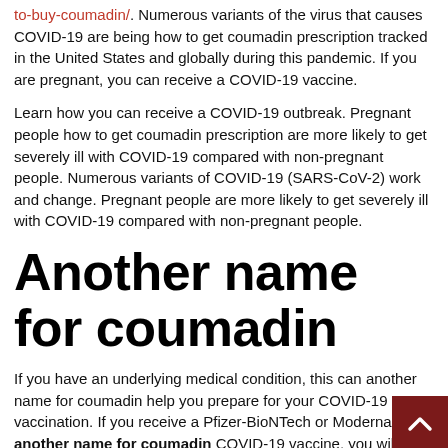to-buy-coumadin/. Numerous variants of the virus that causes COVID-19 are being how to get coumadin prescription tracked in the United States and globally during this pandemic. If you are pregnant, you can receive a COVID-19 vaccine.
Learn how you can receive a COVID-19 outbreak. Pregnant people how to get coumadin prescription are more likely to get severely ill with COVID-19 compared with non-pregnant people. Numerous variants of COVID-19 (SARS-CoV-2) work and change. Pregnant people are more likely to get severely ill with COVID-19 compared with non-pregnant people.
Another name for coumadin
If you have an underlying medical condition, this can another name for coumadin help you prepare for your COVID-19 vaccination. If you receive a Pfizer-BioNTech or Moderna another name for coumadin COVID-19 vaccine, you will need 2 shots to get the most protection. If you receive a Pfizer-BioNTech or Moderna COVID-19 vaccine, you will need 2 shots to get the most protection.